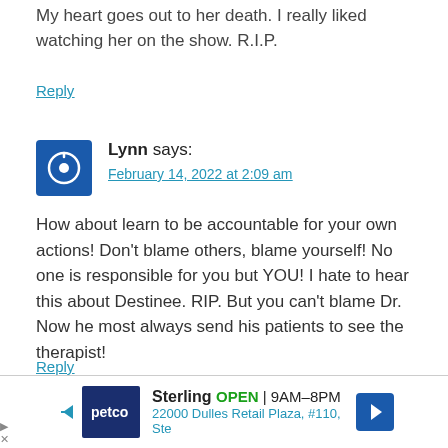My heart goes out to her death. I really liked watching her on the show. R.I.P.
Reply
Lynn says:
February 14, 2022 at 2:09 am
How about learn to be accountable for your own actions! Don't blame others, blame yourself! No one is responsible for you but YOU! I hate to hear this about Destinee. RIP. But you can't blame Dr. Now he most always send his patients to see the therapist!
Reply
[Figure (infographic): Petco advertisement banner showing Petco logo, Sterling store, OPEN 9AM-8PM, address 22000 Dulles Retail Plaza, #110, Ste, and a blue navigation arrow icon]